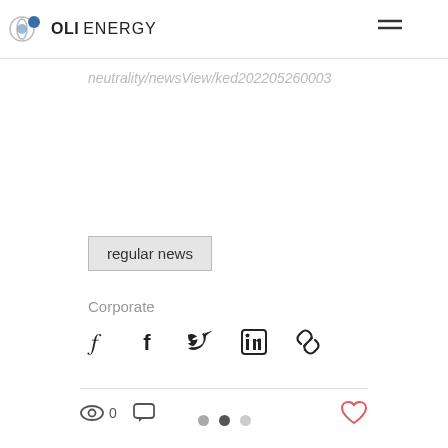OLI ENERGY
Reference↗
//www.kedaloba/carbon neutrality/newsView/ked202205260003
regular news
Corporate
[Figure (infographic): Social share icons: Facebook, Twitter, LinkedIn, Link]
[Figure (infographic): View count icon with 0, comment icon, heart/like icon]
[Figure (infographic): Pagination dots: gray, dark, light]